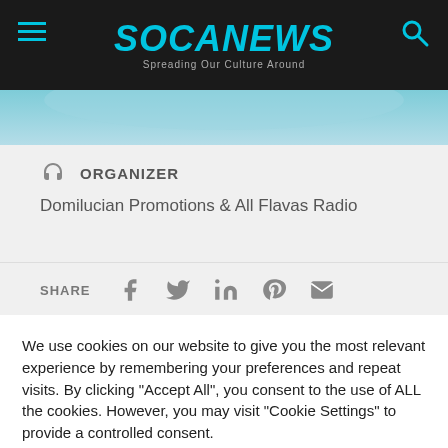SOCANEWS – Spreading Our Culture Around
[Figure (photo): Blue-toned partial image visible at top of content card]
ORGANIZER
Domilucian Promotions & All Flavas Radio
SHARE
We use cookies on our website to give you the most relevant experience by remembering your preferences and repeat visits. By clicking "Accept All", you consent to the use of ALL the cookies. However, you may visit "Cookie Settings" to provide a controlled consent.
Cookie Settings | Accept All